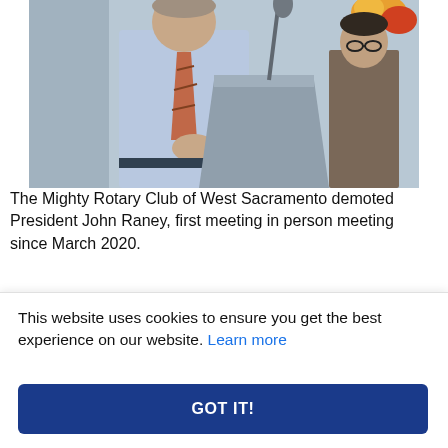[Figure (photo): A man in a light blue shirt and plaid tie speaking at a podium with a microphone; another person is visible behind him to the right; floral decoration visible in upper right corner.]
The Mighty Rotary Club of West Sacramento demoted President John Raney, first meeting in person meeting since March 2020.
[Figure (photo): A man with gray hair and glasses seated, dark curtains in background, orange floral arrangement visible, partial view of another person on the right edge.]
This website uses cookies to ensure you get the best experience on our website. Learn more
GOT IT!